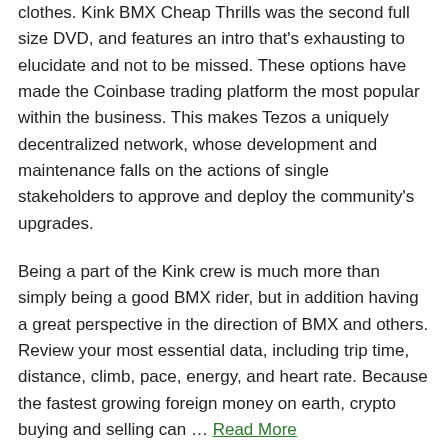clothes. Kink BMX Cheap Thrills was the second full size DVD, and features an intro that's exhausting to elucidate and not to be missed. These options have made the Coinbase trading platform the most popular within the business. This makes Tezos a uniquely decentralized network, whose development and maintenance falls on the actions of single stakeholders to approve and deploy the community's upgrades.
Being a part of the Kink crew is much more than simply being a good BMX rider, but in addition having a great perspective in the direction of BMX and others. Review your most essential data, including trip time, distance, climb, pace, energy, and heart rate. Because the fastest growing foreign money on earth, crypto buying and selling can … Read More
Read More